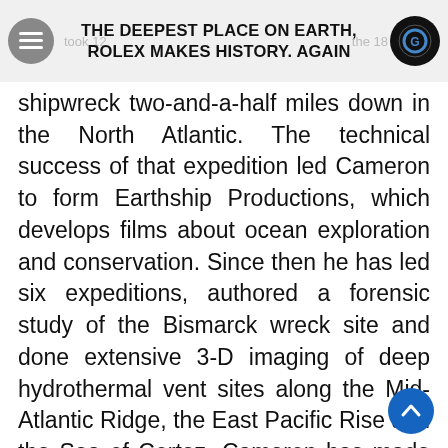THE DEEPEST PLACE ON EARTH, ROLEX MAKES HISTORY. AGAIN
shipwreck two-and-a-half miles down in the North Atlantic. The technical success of that expedition led Cameron to form Earthship Productions, which develops films about ocean exploration and conservation. Since then he has led six expeditions, authored a forensic study of the Bismarck wreck site and done extensive 3-D imaging of deep hydrothermal vent sites along the Mid-Atlantic Ridge, the East Pacific Rise and the Sea of Cortez. Cameron has made more than 70 deep submersible dives, including a total of 33 to Titanic. Fifty-one of these dives were in Russian Mir submersibles to depths of up to 3.03 miles (4.87 km).